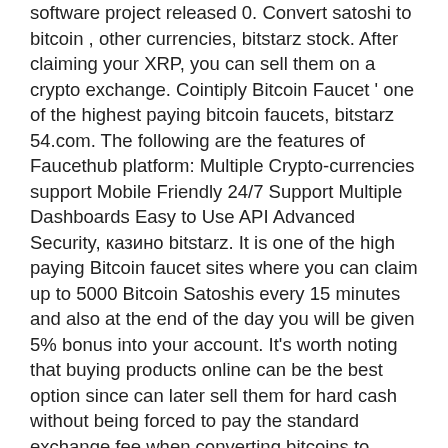software project released 0. Convert satoshi to bitcoin , other currencies, bitstarz stock. After claiming your XRP, you can sell them on a crypto exchange. Cointiply Bitcoin Faucet ' one of the highest paying bitcoin faucets, bitstarz 54.com. The following are the features of Faucethub platform: Multiple Crypto-currencies support Mobile Friendly 24/7 Support Multiple Dashboards Easy to Use API Advanced Security, казино bitstarz. It is one of the high paying Bitcoin faucet sites where you can claim up to 5000 Bitcoin Satoshis every 15 minutes and also at the end of the day you will be given 5% bonus into your account. It's worth noting that buying products online can be the best option since can later sell them for hard cash without being forced to pay the standard exchange fee when converting bitcoins to USD, bitstarz casino 25 бесплатные вращения. Is It True That Bitcoin Faucets Is A Scam? If you want a reliable and legitimate